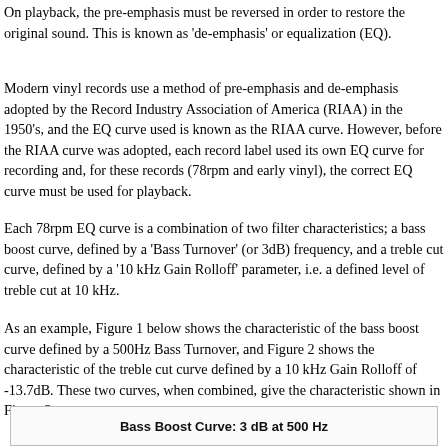On playback, the pre-emphasis must be reversed in order to restore the original sound. This is known as 'de-emphasis' or equalization (EQ).
Modern vinyl records use a method of pre-emphasis and de-emphasis adopted by the Record Industry Association of America (RIAA) in the 1950's, and the EQ curve used is known as the RIAA curve. However, before the RIAA curve was adopted, each record label used its own EQ curve for recording and, for these records (78rpm and early vinyl), the correct EQ curve must be used for playback.
Each 78rpm EQ curve is a combination of two filter characteristics; a bass boost curve, defined by a 'Bass Turnover' (or 3dB) frequency, and a treble cut curve, defined by a '10 kHz Gain Rolloff' parameter, i.e. a defined level of treble cut at 10 kHz.
As an example, Figure 1 below shows the characteristic of the bass boost curve defined by a 500Hz Bass Turnover, and Figure 2 shows the characteristic of the treble cut curve defined by a 10 kHz Gain Rolloff of -13.7dB. These two curves, when combined, give the characteristic shown in Figure 3.
[Figure (other): Bass Boost Curve: 3 dB at 500 Hz - chart box header/title bar]